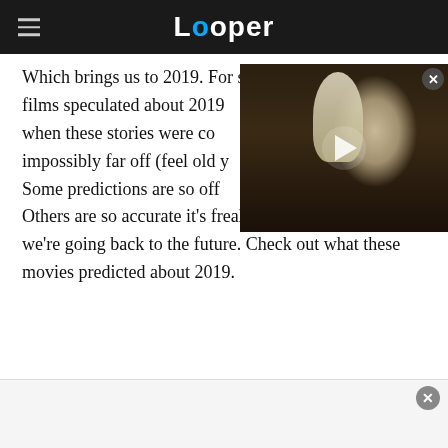Looper
Which brings us to 2019. For some reason, a lot of films speculated about 2019 when these stories were conceived — impossibly far off (feel old yet?). Some predictions are so off. Others are so accurate it's freaky. Brace yourselves, as we're going back to the future. Check out what these movies predicted about 2019.
[Figure (screenshot): Video thumbnail showing a white-haired man with a play button overlay, part of an embedded video player]
Ahh-nald runs from bad guys on a warped reality TV show